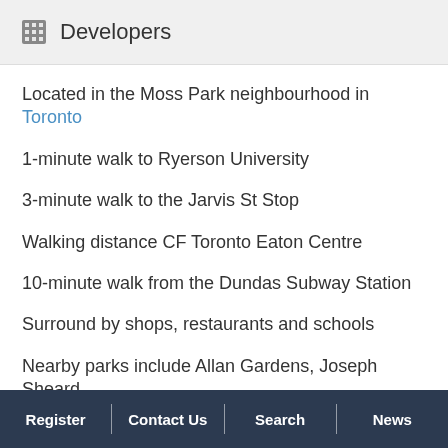Developers
Located in the Moss Park neighbourhood in Toronto
1-minute walk to Ryerson University
3-minute walk to the Jarvis St Stop
Walking distance CF Toronto Eaton Centre
10-minute walk from the Dundas Subway Station
Surround by shops, restaurants and schools
Nearby parks include Allan Gardens, Joseph Sheard
Register | Contact Us | Search | News